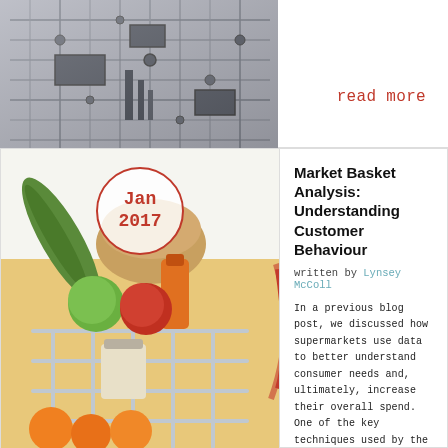[Figure (photo): Circuit board / technology aerial photo in grayscale]
read more
[Figure (photo): Grocery shopping cart with vegetables, bread, juice and other items; overlaid with a red circle date badge reading Jan 2017]
Market Basket Analysis: Understanding Customer Behaviour
written by Lynsey McColl
In a previous blog post, we discussed how supermarkets use data to better understand consumer needs and, ultimately, increase their overall spend. One of the key techniques used by the large retailers is called Market Basket Analysis (MBA), which uncovers associations between products by looking for combinations of products